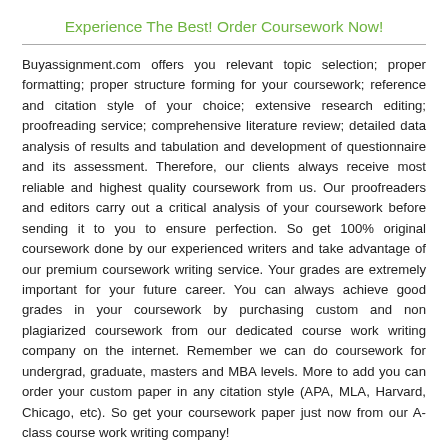Experience The Best! Order Coursework Now!
Buyassignment.com offers you relevant topic selection; proper formatting; proper structure forming for your coursework; reference and citation style of your choice; extensive research editing; proofreading service; comprehensive literature review; detailed data analysis of results and tabulation and development of questionnaire and its assessment. Therefore, our clients always receive most reliable and highest quality coursework from us. Our proofreaders and editors carry out a critical analysis of your coursework before sending it to you to ensure perfection. So get 100% original coursework done by our experienced writers and take advantage of our premium coursework writing service. Your grades are extremely important for your future career. You can always achieve good grades in your coursework by purchasing custom and non plagiarized coursework from our dedicated course work writing company on the internet. Remember we can do coursework for undergrad, graduate, masters and MBA levels. More to add you can order your custom paper in any citation style (APA, MLA, Harvard, Chicago, etc). So get your coursework paper just now from our A-class course work writing company!